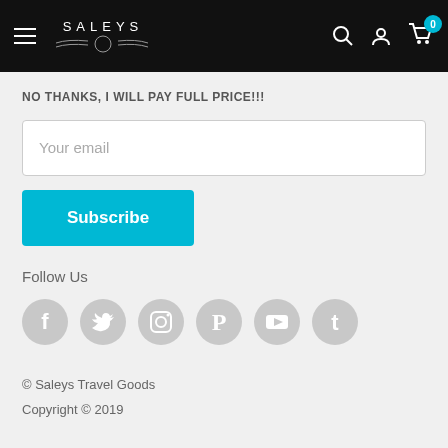SALEYS — Navigation bar with hamburger, logo, search, account, cart (0)
NO THANKS, I WILL PAY FULL PRICE!!!
Your email
Subscribe
Follow Us
[Figure (other): Social media icons: Facebook, Twitter, Instagram, Pinterest, YouTube, Tumblr — all grey circular icons]
© Saleys Travel Goods
Copyright © 2019